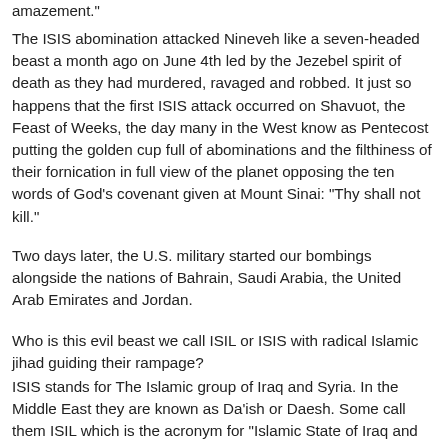amazement."
The ISIS abomination attacked Nineveh like a seven-headed beast a month ago on June 4th led by the Jezebel spirit of death as they had murdered, ravaged and robbed. It just so happens that the first ISIS attack occurred on Shavuot, the Feast of Weeks, the day many in the West know as Pentecost putting the golden cup full of abominations and the filthiness of their fornication in full view of the planet opposing the ten words of God's covenant given at Mount Sinai: "Thy shall not kill."
Two days later, the U.S. military started our bombings alongside the nations of Bahrain, Saudi Arabia, the United Arab Emirates and Jordan.
Who is this evil beast we call ISIL or ISIS with radical Islamic jihad guiding their rampage?
ISIS stands for The Islamic group of Iraq and Syria. In the Middle East they are known as Da'ish or Daesh. Some call them ISIL which is the acronym for “Islamic State of Iraq and the Levant.” The larger question is what does all this mean